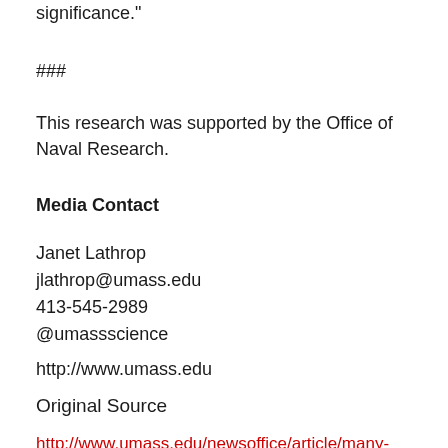significance."
###
This research was supported by the Office of Naval Research.
Media Contact
Janet Lathrop
jlathrop@umass.edu
413-545-2989
@umassscience
http://www.umass.edu
Original Source
http://www.umass.edu/newsoffice/article/many-more-